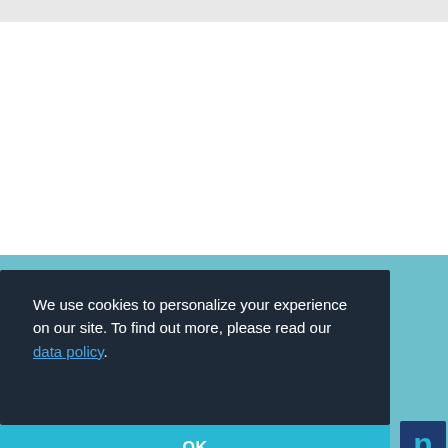[Figure (screenshot): Gray top bar of a webpage]
We use cookies to personalize your experience on our site. To find out more, please read our data policy.
OK